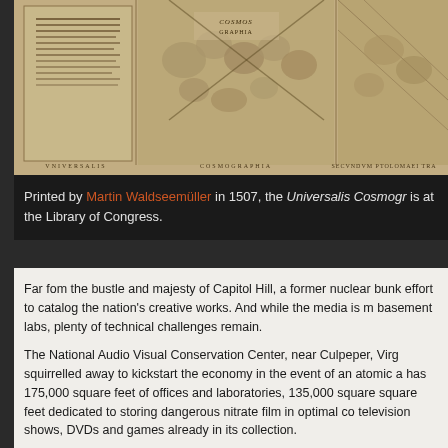[Figure (map): Historical map image showing the Universalis Cosmographia, an antique world map printed in 1507 by Martin Waldseemüller, displayed in three panels with ornamental imagery and Latin text labels at the bottom.]
Printed by Martin Waldseemüller in 1507, the Universalis Cosmogr... is at the Library of Congress.
Far fom the bustle and majesty of Capitol Hill, a former nuclear bun... effort to catalog the nation's creative works. And while the media is ... basement labs, plenty of technical challenges remain.
The National Audio Visual Conservation Center, near Culpeper, Virg... squirrelled away to kickstart the economy in the event of an atomic a... has 175,000 square feet of offices and laboratories, 135,000 square... square feet dedicated to storing dangerous nitrate film in optimal co... television shows, DVDs and games already in its collection.
And it grows, day in, day out. Delivered to loading docks, thousands... areas until finding a permanent home in the vaults.